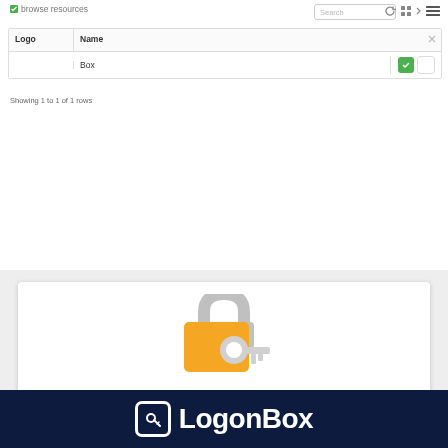[Figure (screenshot): Web UI showing a browse resources table with a 'Box' entry, search bar, and action icons. Below is a card with a lock and key icon saying 'Part of Hypersocket Systems?' with descriptive text. Bottom is a dark navy footer with LogonBox logo.]
LogonBox